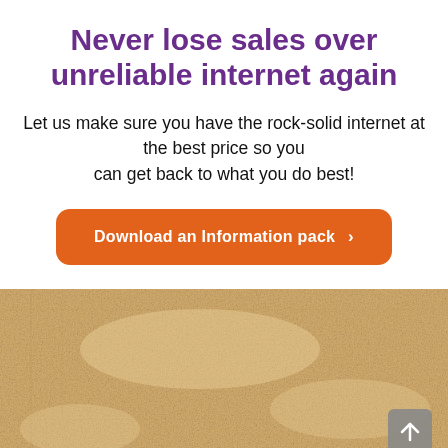Never lose sales over unreliable internet again
Let us make sure you have the rock-solid internet at the best price so you can get back to what you do best!
Download an Information pack >
[Figure (photo): Close-up texture of beige/cream colored carpet or fabric material]